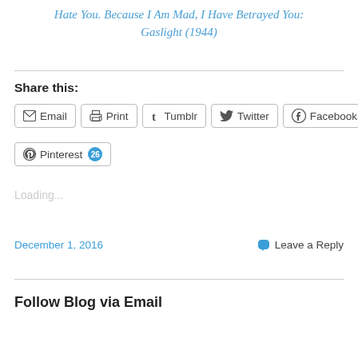Hate You. Because I Am Mad, I Have Betrayed You: Gaslight (1944)
Share this:
Email | Print | Tumblr | Twitter | Facebook | Pinterest 26
Loading...
December 1, 2016
Leave a Reply
Follow Blog via Email